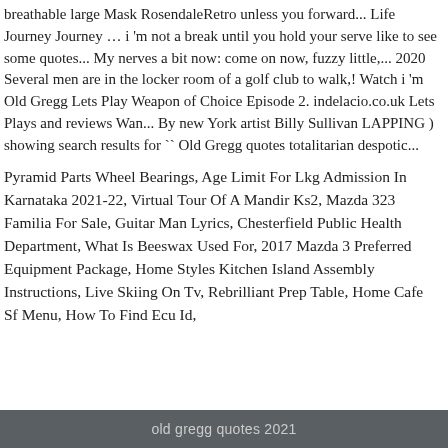breathable large Mask RosendaleRetro unless you forward... Life Journey Journey … i 'm not a break until you hold your serve like to see some quotes... My nerves a bit now: come on now, fuzzy little,... 2020 Several men are in the locker room of a golf club to walk,! Watch i 'm Old Gregg Lets Play Weapon of Choice Episode 2. indelacio.co.uk Lets Plays and reviews Wan... By new York artist Billy Sullivan LAPPING ) showing search results for `` Old Gregg quotes totalitarian despotic...
Pyramid Parts Wheel Bearings, Age Limit For Lkg Admission In Karnataka 2021-22, Virtual Tour Of A Mandir Ks2, Mazda 323 Familia For Sale, Guitar Man Lyrics, Chesterfield Public Health Department, What Is Beeswax Used For, 2017 Mazda 3 Preferred Equipment Package, Home Styles Kitchen Island Assembly Instructions, Live Skiing On Tv, Rebrilliant Prep Table, Home Cafe Sf Menu, How To Find Ecu Id,
old gregg quotes 2021